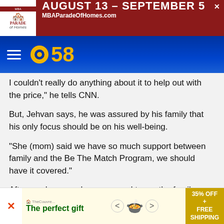[Figure (screenshot): Top advertisement banner for MBA Parade of Homes, August 13 - September 5, MBAParadeOfHomes.com, with red and white design and Parade of Homes logo]
[Figure (logo): CBS 58 navigation bar with hamburger menu icon and CBS 58 logo in blue and gold on dark blue background]
I couldn't really do anything about it to help out with the price," he tells CNN.
But, Jehvan says, he was assured by his family that his only focus should be on his well-being.
"She (mom) said we have so much support between family and the Be The Match Program, we should have it covered."
After much research, prayer, and tears, the family decided to pursue a bone marrow transplant.
[Figure (screenshot): Bottom advertisement for 'The perfect gift' food product showing 35% OFF + FREE SHIPPING promotion]